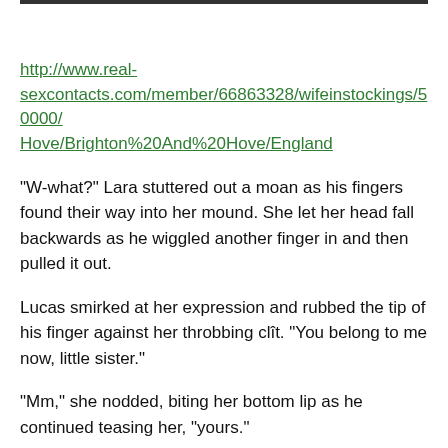http://www.real-sexcontacts.com/member/66863328/wifeinstockings/50000/Hove/Brighton%20And%20Hove/England
“W-what?” Lara stuttered out a moan as his fingers found their way into her mound. She let her head fall backwards as he wiggled another finger in and then pulled it out.
Lucas smirked at her expression and rubbed the tip of his finger against her throbbing clît. “You belong to me now, little sister.”
“Mm,” she nodded, biting her bottom lip as he continued teasing her, “yours.”
“Now that you’re mine,” he whispered huskily, “you’re going to